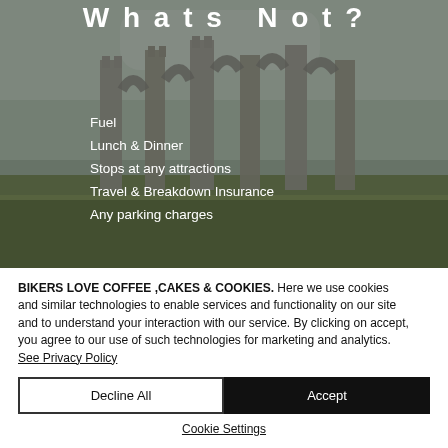[Figure (photo): Photo of stone castle ruins on a grassy hill against an overcast sky. Title text 'Whats Not?' overlaid in white bold letters at top. List of items overlaid in white: Fuel, Lunch & Dinner, Stops at any attractions, Travel & Breakdown Insurance, Any parking charges.]
BIKERS LOVE COFFEE ,CAKES & COOKIES. Here we use cookies and similar technologies to enable services and functionality on our site and to understand your interaction with our service. By clicking on accept, you agree to our use of such technologies for marketing and analytics. See Privacy Policy
Decline All
Accept
Cookie Settings